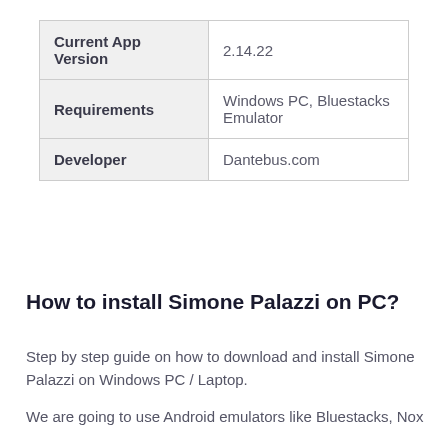| Current App Version | 2.14.22 |
| Requirements | Windows PC, Bluestacks Emulator |
| Developer | Dantebus.com |
How to install Simone Palazzi on PC?
Step by step guide on how to download and install Simone Palazzi on Windows PC / Laptop.
We are going to use Android emulators like Bluestacks, Nox